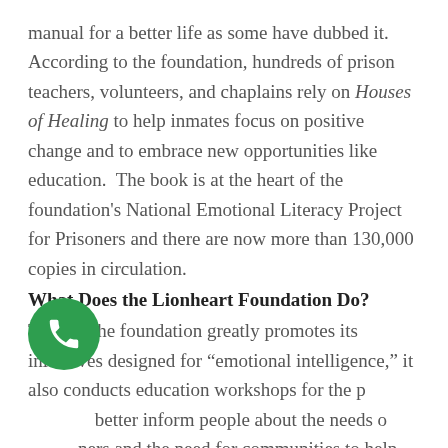manual for a better life as some have dubbed it. According to the foundation, hundreds of prison teachers, volunteers, and chaplains rely on Houses of Healing to help inmates focus on positive change and to embrace new opportunities like education.  The book is at the heart of the foundation's National Emotional Literacy Project for Prisoners and there are now more than 130,000 copies in circulation.
What Does the Lionheart Foundation Do?
Though the foundation greatly promotes its initiatives designed for "emotional intelligence," it also conducts education workshops for the p[phone icon] better inform people about the needs o[phone icon]ners and the need for communities to help support their reentry and rehabilitation.  All